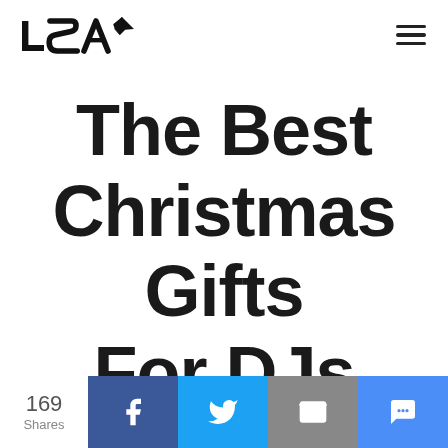LSA logo and navigation menu
The Best Christmas Gifts For DJs 2019
169 Shares